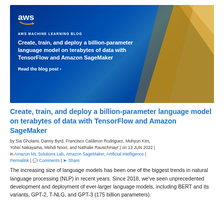[Figure (illustration): AWS Machine Learning Blog banner with dark blue gradient background and gold geometric shape on right. Contains AWS logo, 'AWS MACHINE LEARNING BLOG' label, article title 'Create, train, and deploy a billion-parameter language model on terabytes of data with TensorFlow and Amazon SageMaker', and 'Read the blog post ›' link in white text.]
Create, train, and deploy a billion-parameter language model on terabytes of data with TensorFlow and Amazon SageMaker
by Sia Gholami, Danny Byrd, Francisco Calderon Rodriguez, Muhyun Kim, Yohei Nakayama, Mehdi Noori, and Nathalie Rauschmayr | on 13 JUN 2022 | in Amazon ML Solutions Lab, Amazon SageMaker, Artificial Intelligence | Permalink | Comments | Share
The increasing size of language models has been one of the biggest trends in natural language processing (NLP) in recent years. Since 2018, we've seen unprecedented development and deployment of ever-larger language models, including BERT and its variants, GPT-2, T-NLG, and GPT-3 (175 billion parameters).